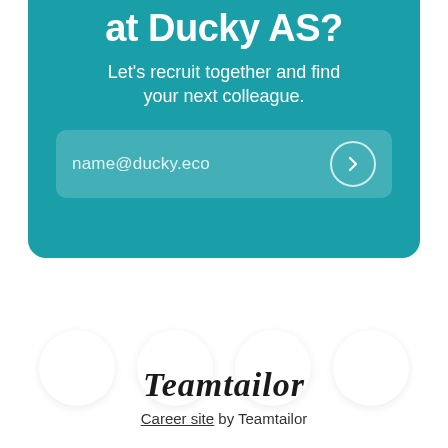at Ducky AS?
Let's recruit together and find your next colleague.
name@ducky.eco
[Figure (illustration): Four white circles arranged in a row at the bottom of the teal card]
[Figure (logo): Teamtailor logo in italic script font]
Career site by Teamtailor